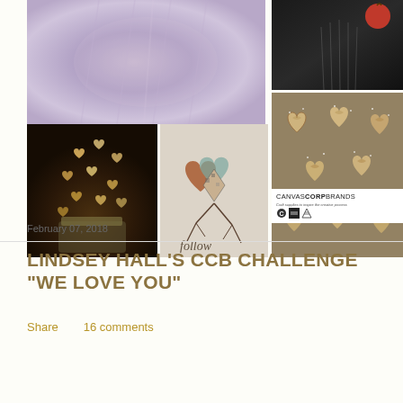[Figure (photo): Collage of 5 photos: top-left is a large lavender/purple soft-focus photo, top-right upper is a dark black and white photo with a red apple, bottom-left is a dark photo with heart-shaped bokeh fairy lights in a mason jar, bottom-center is an illustrated decorative heart collage with 'follow' text, top-right lower is a tray of heart-shaped pastry rolls dusted with sugar, and a Canvas Corp Brands logo area at bottom right.]
February 07, 2018
LINDSEY HALL'S CCB CHALLENGE "WE LOVE YOU"
Share    16 comments